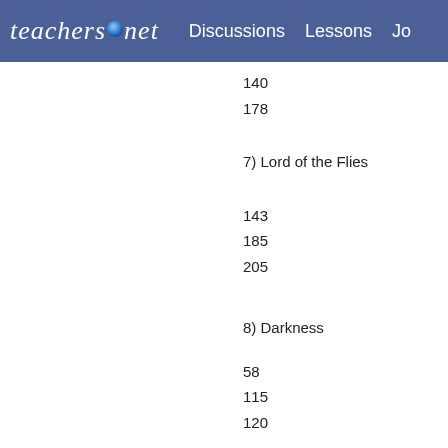teachers.net  Discussions  Lessons  Jo
140
178
7) Lord of the Flies
143
185
205
8) Darkness
58
115
120
9) Mountain
68